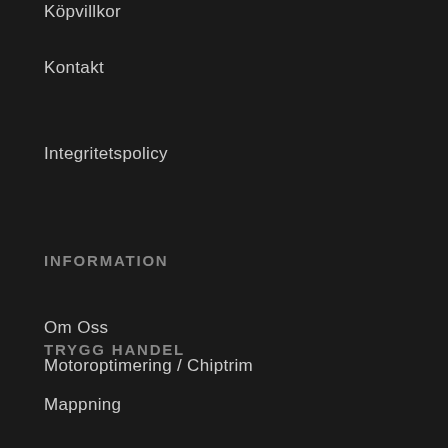Köpvillkor
Kontakt
Integritetspolicy
INFORMATION
Om Oss
Motoroptimering / Chiptrim
Mappning
TRYGG HANDEL